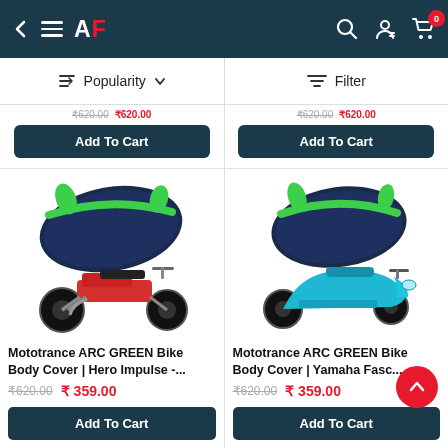AF - navigation bar with back arrow, menu, logo, search, account, cart (0)
Popularity  ↓  |  Filter
Add To Cart  |  Add To Cart
[Figure (photo): Mototrance ARC GREEN Bike Body Cover shown over a red Hero Impulse motorcycle]
Mototrance ARC GREEN Bike Body Cover | Hero Impulse -...
₹620.00  ₹ 359.00
[Figure (photo): Mototrance ARC GREEN Bike Body Cover shown over a blue Yamaha Fascino scooter]
Mototrance ARC GREEN Bike Body Cover | Yamaha Fasc...
₹620.00  ₹ 359.00